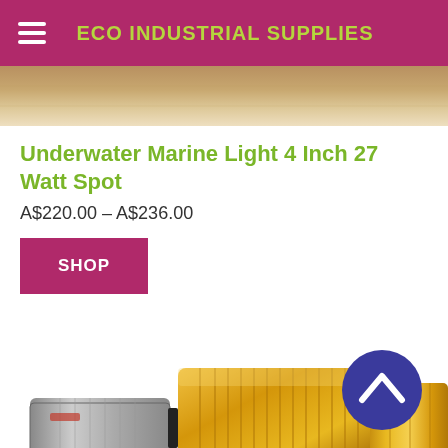ECO INDUSTRIAL SUPPLIES
[Figure (photo): Top portion of a product photo showing a warm-toned background, partially cropped]
Underwater Marine Light 4 Inch 27 Watt Spot
A$220.00 – A$236.00
SHOP
[Figure (photo): Close-up photo of a brass threaded marine fitting/connector with a blue circular back-to-top button overlaid]